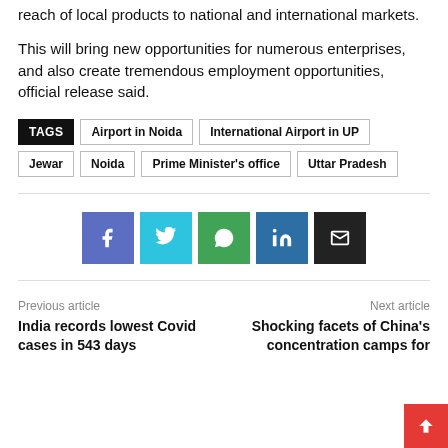reach of local products to national and international markets.
This will bring new opportunities for numerous enterprises, and also create tremendous employment opportunities, official release said.
TAGS  Airport in Noida  International Airport in UP  Jewar  Noida  Prime Minister's office  Uttar Pradesh
[Figure (infographic): Row of social share buttons: Facebook (blue), Twitter (cyan), WhatsApp (green), LinkedIn (dark blue), Email (black)]
Previous article
India records lowest Covid cases in 543 days
Next article
Shocking facets of China's concentration camps for